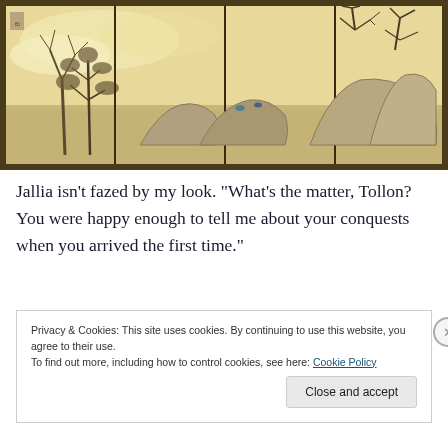[Figure (illustration): A Japanese folding screen painting depicting a landscape with bare trees, rocky outcroppings, and misty clouds on a golden/cream background, set within a decorative dark frame border.]
Jallia isn't fazed by my look. “What’s the matter, Tollon? You were happy enough to tell me about your conquests when you arrived the first time.”
Privacy & Cookies: This site uses cookies. By continuing to use this website, you agree to their use.
To find out more, including how to control cookies, see here: Cookie Policy
Close and accept